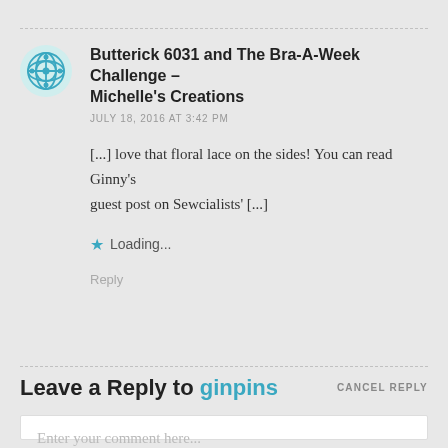Butterick 6031 and The Bra-A-Week Challenge – Michelle's Creations
JULY 18, 2016 AT 3:42 PM
[...] love that floral lace on the sides! You can read Ginny's guest post on Sewcialists' [...]
Loading...
Reply
Leave a Reply to ginpins
CANCEL REPLY
Enter your comment here...